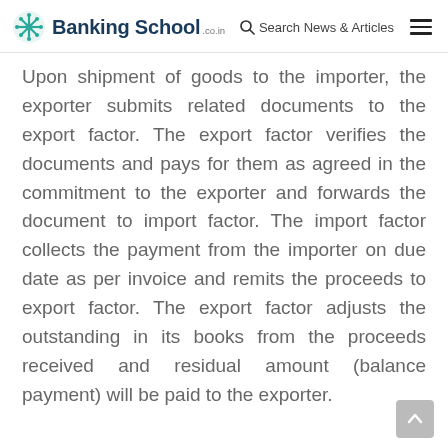Banking School .co.in — Search News & Articles
Upon shipment of goods to the importer, the exporter submits related documents to the export factor. The export factor verifies the documents and pays for them as agreed in the commitment to the exporter and forwards the document to import factor. The import factor collects the payment from the importer on due date as per invoice and remits the proceeds to export factor. The export factor adjusts the outstanding in its books from the proceeds received and residual amount (balance payment) will be paid to the exporter.